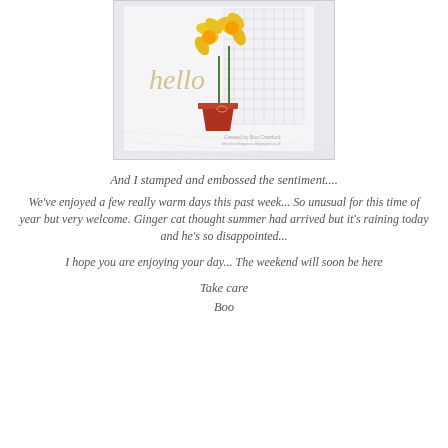[Figure (photo): A handmade greeting card with yellow daffodils in a red pot, with 'hello' sentiment embossed in gold, and a white grid/lattice panel background.]
And I stamped and embossed the sentiment....
We've enjoyed a few really warm days this past week... So unusual for this time of year but very welcome. Ginger cat thought summer had arrived but it's raining today and he's so disappointed...
I hope you are enjoying your day... The weekend will soon be here
Take care
Boo